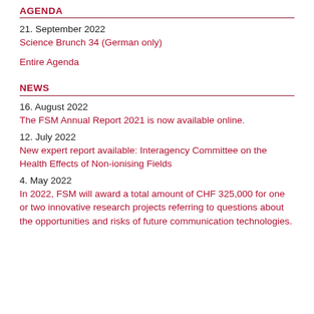AGENDA
21. September 2022
Science Brunch 34 (German only)
Entire Agenda
NEWS
16. August 2022
The FSM Annual Report 2021 is now available online.
12. July 2022
New expert report available: Interagency Committee on the Health Effects of Non-ionising Fields
4. May 2022
In 2022, FSM will award a total amount of CHF 325,000 for one or two innovative research projects referring to questions about the opportunities and risks of future communication technologies.